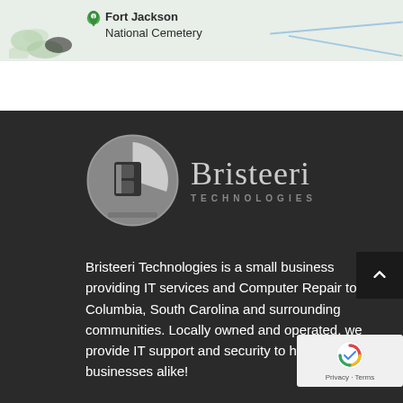[Figure (map): Partial Google Maps screenshot showing Fort Jackson National Cemetery label with map pin icon and road lines]
[Figure (logo): Bristeeri Technologies logo: circular grey icon with stylized B letter on dark background, followed by company name 'Bristeeri TECHNOLOGIES' in grey text]
Bristeeri Technologies is a small business providing IT services and Computer Repair to Columbia, South Carolina and surrounding communities. Locally owned and operated, we provide IT support and security to homes and businesses alike!
[Figure (other): reCAPTCHA badge with Google reCAPTCHA spinner icon and 'Privacy · Terms' text]